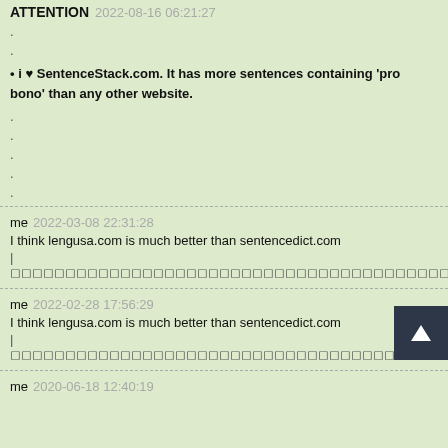ATTENTION 2022-08-16 06:21:27
.
.
• i ♥ SentenceStack.com. It has more sentences containing 'pro bono' than any other website.
.
.
.
.
.
me 2022-03-08 22:31:28
I think lengusa.com is much better than sentencedict.com
|◻◻◻◻◻◻◻◻◻◻◻◻◻◻◻◻◻◻◻◻◻◻◻◻◻◻◻◻◻◻◻◻◻◻◻◻◻◻◻◻
me 2022-02-28 17:56:29
I think lengusa.com is much better than sentencedict.com
|◻◻◻◻◻◻◻◻◻◻◻◻◻◻◻◻◻◻◻◻◻◻◻◻◻◻◻◻◻◻◻◻◻◻◻◻◻◻◻◻
me 2020-06-18 12:40:19